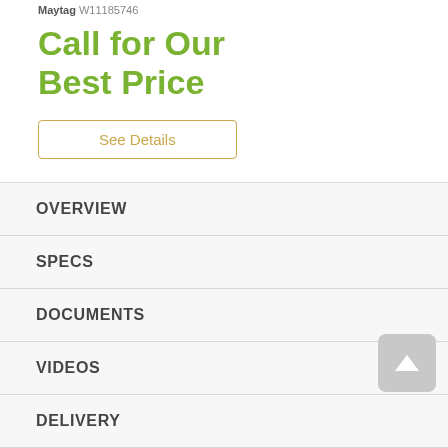Maytag W11185746
Call for Our Best Price
See Details
OVERVIEW
SPECS
DOCUMENTS
VIDEOS
DELIVERY